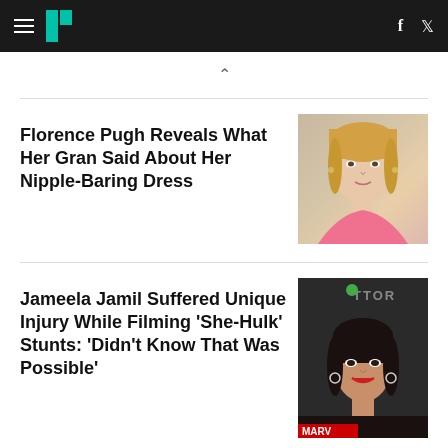HuffPost navigation with hamburger menu, logo, Facebook and Twitter icons
Florence Pugh Reveals What Her Gran Said About Her Nipple-Baring Dress
[Figure (photo): Photo of Florence Pugh, blonde hair, wearing pink outfit]
Jameela Jamil Suffered Unique Injury While Filming 'She-Hulk' Stunts: 'Didn't Know That Was Possible'
[Figure (photo): Photo of Jameela Jamil, dark hair, at a Marvel event]